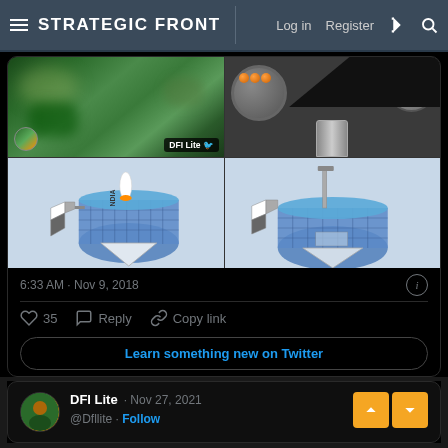STRATEGIC FRONT  |  Log in  Register
[Figure (screenshot): 2x2 grid of images: top-left aerial blurry green view with DFI Lite badge, top-right dark image with orange spheres/containers, bottom-left and bottom-right are 3D diagrams of a rocket/missile catcher mechanism with blue cylindrical structure labeled NDIA]
6:33 AM · Nov 9, 2018
35  Reply  Copy link
Learn something new on Twitter
DFI Lite · Nov 27, 2021
@Dfllite · Follow